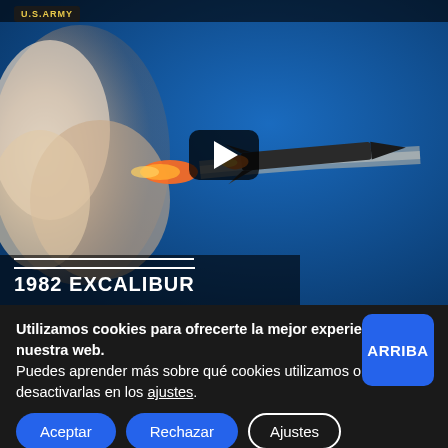[Figure (screenshot): YouTube-style video thumbnail showing a missile launch (1982 Excalibur) with smoke trail against blue sky, with a play button overlay and U.S. Army badge in top-left corner]
Utilizamos cookies para ofrecerte la mejor experiencia en nuestra web.
Puedes aprender más sobre qué cookies utilizamos o desactivarlas en los ajustes.
Aceptar
Rechazar
Ajustes
ARRIBA